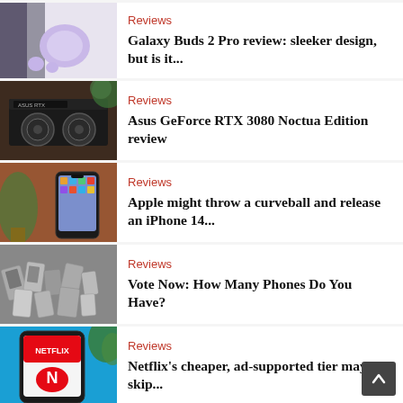Reviews
Galaxy Buds 2 Pro review: sleeker design, but is it...
Reviews
Asus GeForce RTX 3080 Noctua Edition review
Reviews
Apple might throw a curveball and release an iPhone 14...
Reviews
Vote Now: How Many Phones Do You Have?
Reviews
Netflix's cheaper, ad-supported tier may skip...